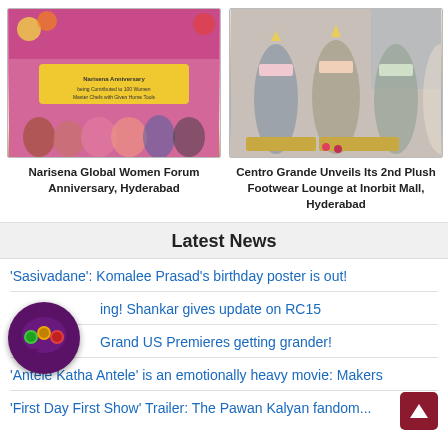[Figure (photo): Group photo at Narisena Global Women Forum Anniversary, Hyderabad, with people holding a yellow banner]
Narisena Global Women Forum Anniversary, Hyderabad
[Figure (photo): Group photo of beauty pageant winners with sashes and crowns at Centro Grande footwear lounge]
Centro Grande Unveils Its 2nd Plush Footwear Lounge at Inorbit Mall, Hyderabad
Latest News
'Sasivadane': Komalee Prasad's birthday poster is out!
Bing! Shankar gives update on RC15
Grand US Premieres getting grander!
'Antele Katha Antele' is an emotionally heavy movie: Makers
'First Day First Show' Trailer: The Pawan Kalyan fandom...